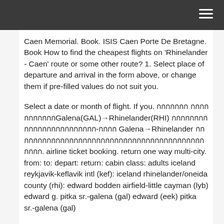Caen Memorial. Book. ISIS Caen Porte De Bretagne. Book How to find the cheapest flights on 'Rhinelander - Caen' route or some other route? 1. Select place of departure and arrival in the form above, or change them if pre-filled values do not suit you.
Select a date or month of flight. If you. กกกกกกก กกกกกกกกกกกGalena(GAL)→Rhinelander(RHI) กกกกกกกก กกกกกกกกกกกกกกกก-กกกก Galena→Rhinelander กกกกกกกกกกกกกกกกกกกกกกกกกกกกกกกกกกกกกกกกกกกกกก. airline ticket booking. return one way multi-city. from: to: depart: return: cabin class: adults iceland reykjavik-keflavik intl (kef): iceland rhinelander/oneida county (rhi): edward bodden airfield-little cayman (lyb) edward g. pitka sr.-galena (gal) edward (eek) pitka sr.-galena (gal)